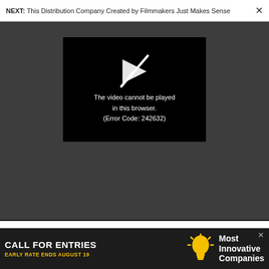NEXT: This Distribution Company Created by Filmmakers Just Makes Sense ×
[Figure (screenshot): Video player on dark grey background showing a black rectangle with a broken/crossed play button icon. Error message reads: The video cannot be played in this browser. (Error Code: 242632)]
solution we thought. Here's why
TECH
[Figure (infographic): Advertisement banner: CALL FOR ENTRIES, EARLY RATE ENDS AUGUST 19, lightbulb icon, Most Innovative Companies]